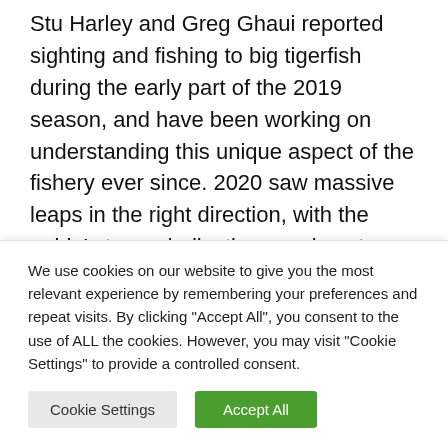Stu Harley and Greg Ghaui reported sighting and fishing to big tigerfish during the early part of the 2019 season, and have been working on understanding this unique aspect of the fishery ever since. 2020 saw massive leaps in the right direction, with the guide's team dedicating sessions to specifically sight fish to tigerfish, and with great success.  All of this has led to a massive shift on how we target these shallow water tigerfish.  First off, is the approach. Not unlike  how you would approach a
We use cookies on our website to give you the most relevant experience by remembering your preferences and repeat visits. By clicking "Accept All", you consent to the use of ALL the cookies. However, you may visit "Cookie Settings" to provide a controlled consent.